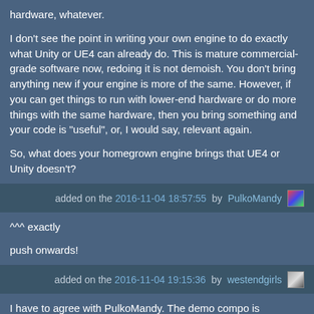hardware, whatever.

I don't see the point in writing your own engine to do exactly what Unity or UE4 can already do. This is mature commercial-grade software now, redoing it is not demoish. You don't bring anything new if your engine is more of the same. However, if you can get things to run with lower-end hardware or do more things with the same hardware, then you bring something and your code is "useful", or, I would say, relevant again.

So, what does your homegrown engine brings that UE4 or Unity doesn't?
added on the 2016-11-04 18:57:55 by PulkoMandy
^^^ exactly

push onwards!
added on the 2016-11-04 19:15:36 by westendgirls
I have to agree with PulkoMandy. The demo compo is supposed to showcase cool audiovisual programs running on the platform and within other limits imposed by the compo rules, most notably executable file size. I mean, if your entry doesn't do impressive stuff considering the platform and the size used, then does it really help